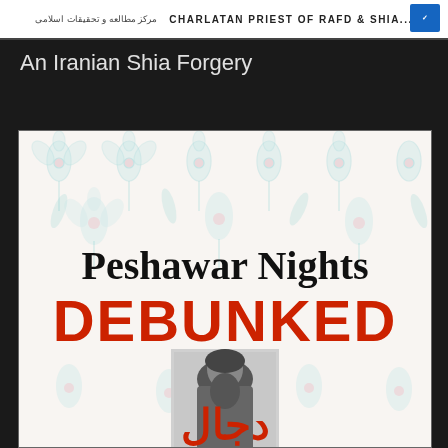[Figure (illustration): Top banner showing partial text: Persian text on left and 'CHARLATAN PRIEST OF RAFD & ...' in center on white background]
An Iranian Shia Forgery
[Figure (illustration): Book cover with floral background pattern in teal and pink. Large bold text 'Peshawar Nights' in black, below it 'DEBUNKED' in large red bold text. A black and white portrait photograph of a bearded cleric in the center-bottom area, with partial red Arabic/Urdu text visible at the bottom.]